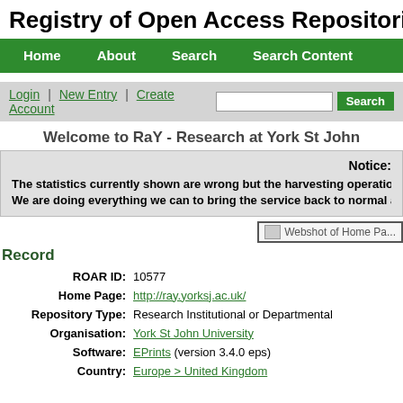Registry of Open Access Repositories
Home | About | Search | Search Content
Login | New Entry | Create Account   Search
Welcome to RaY - Research at York St John
Notice:
The statistics currently shown are wrong but the harvesting operations ...
We are doing everything we can to bring the service back to normal and...
[Figure (screenshot): Webshot of Home Page thumbnail]
Record
| ROAR ID: | 10577 |
| Home Page: | http://ray.yorksj.ac.uk/ |
| Repository Type: | Research Institutional or Departmental |
| Organisation: | York St John University |
| Software: | EPrints (version 3.4.0 eps) |
| Country: | Europe > United Kingdom |